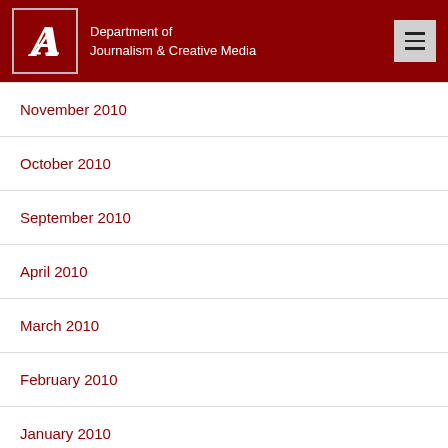Department of Journalism & Creative Media
November 2010
October 2010
September 2010
April 2010
March 2010
February 2010
January 2010
December 2009